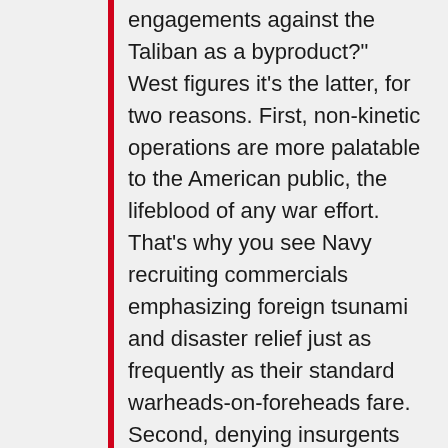engagements against the Taliban as a byproduct?" West figures it’s the latter, for two reasons. First, non-kinetic operations are more palatable to the American public, the lifeblood of any war effort. That’s why you see Navy recruiting commercials emphasizing foreign tsunami and disaster relief just as frequently as their standard warheads-on-foreheads fare. Second, denying insurgents use of the local population is prime-directive number one in any low-intensity fight. There’s two ways to accomplish that mission: brutalize the population until they’re broken like a well-trained horse (a favorite insurgent tactic) or — because the first option is proscribed